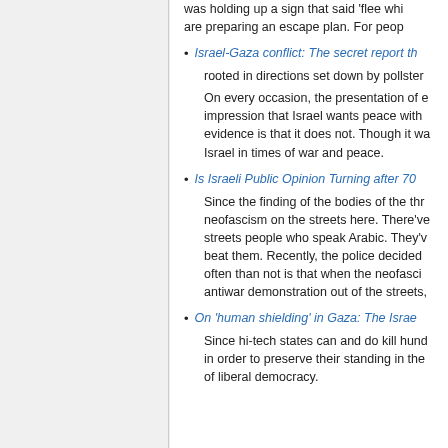was holding up a sign that said 'flee whi are preparing an escape plan. For peop
Israel-Gaza conflict: The secret report th rooted in directions set down by pollster
On every occasion, the presentation of e impression that Israel wants peace with evidence is that it does not. Though it wa Israel in times of war and peace.
Is Israeli Public Opinion Turning after 70
Since the finding of the bodies of the thr neofascism on the streets here. There've streets people who speak Arabic. They'v beat them. Recently, the police decided often than not is that when the neofasci antiwar demonstration out of the streets,
On 'human shielding' in Gaza: The Israe
Since hi-tech states can and do kill hund in order to preserve their standing in the of liberal democracy.